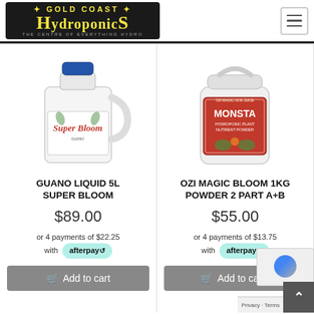GOLD COAST HYDROPONICS - THE CENTRE OF EVERYTHING HYDRO
[Figure (photo): Guano Super Bloom 5L liquid fertilizer white jug with blue cap and product label]
GUANO LIQUID 5L SUPER BLOOM
$89.00
or 4 payments of $22.25 with afterpay
Add to cart
[Figure (photo): Ozi Magic Bloom 1kg white canister with orange/red label - Monsta Hydroponic Plant Nutrient Powder]
OZI MAGIC BLOOM 1KG POWDER 2 PART A+B
$55.00
or 4 payments of $13.75 with afterpay
Add to cart